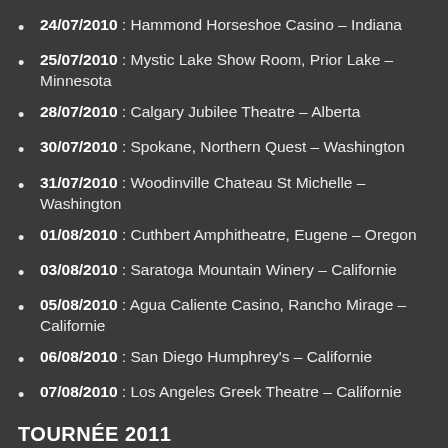24/07/2010 : Hammond Horseshoe Casino – Indiana
25/07/2010 : Mystic Lake Show Room, Prior Lake – Minnesota
28/07/2010 : Calgary Jubilee Theatre – Alberta
30/07/2010 : Spokane, Northern Quest – Washington
31/07/2010 : Woodinville Chateau St Michelle – Washington
01/08/2010 : Cuthbert Amphitheatre, Eugene – Oregon
03/08/2010 : Saratoga Mountain Winery – Californie
05/08/2010 : Agua Caliente Casino, Rancho Mirage – Californie
06/08/2010 : San Diego Humphrey's – Californie
07/08/2010 : Los Angeles Greek Theatre – Californie
TOURNÉE 2011